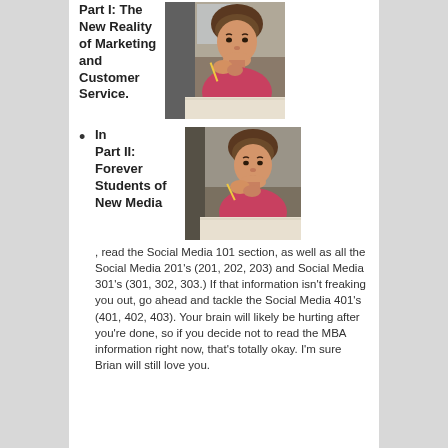Part I: The New Reality of Marketing and Customer Service.
[Figure (photo): A person with short hair wearing a pink top, sitting at a desk with an open book, appearing to be studying or thinking, holding a pencil near their mouth.]
In Part II: Forever Students of New Media, read the Social Media 101 section, as well as all the Social Media 201's (201, 202, 203) and Social Media 301's (301, 302, 303.) If that information isn't freaking you out, go ahead and tackle the Social Media 401's (401, 402, 403). Your brain will likely be hurting after you're done, so if you decide not to read the MBA information right now, that's totally okay. I'm sure Brian will still love you.